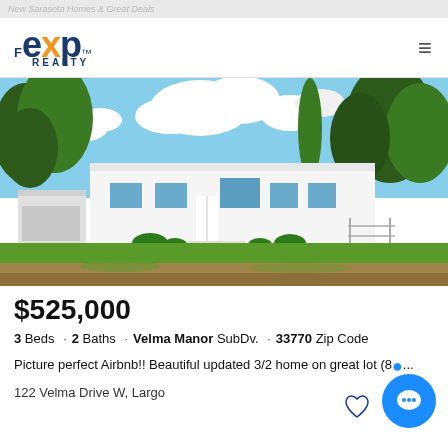eXp REALTY logo and navigation
[Figure (photo): Exterior photo of a single-story white ranch-style home with large green lawn, trees, blue sky with clouds, and a detached garage on the left.]
$525,000
3 Beds · 2 Baths · Velma Manor SubDv. · 33770 Zip Code
Picture perfect Airbnb!! Beautiful updated 3/2 home on great lot (8...
122 Velma Drive W, Largo